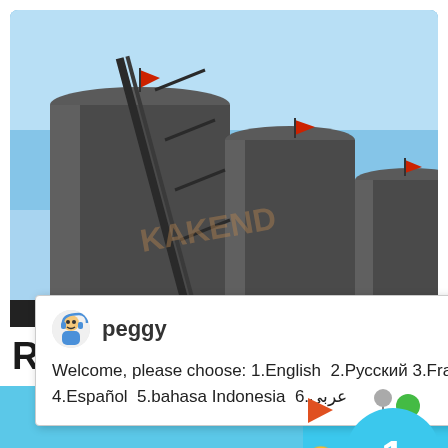[Figure (photo): Industrial storage silos or tanks photographed from below against a blue sky, with small red flags on top. A diagonal ladder/conveyor structure is visible. Watermark text 'KAKEND' visible.]
peggy
Welcome, please choose: 1.English  2.Русский 3.Français 4.Español  5.bahasa Indonesia  6.عربى
[Figure (screenshot): Chat widget panel on right side showing a circular avatar with number 1, an angry emoji face, a 'Click me to chat >>' button, and a cyan background panel.]
Rubber Conveyor Be
Enquiry
Chat Online
cywaitml
@gmail.com